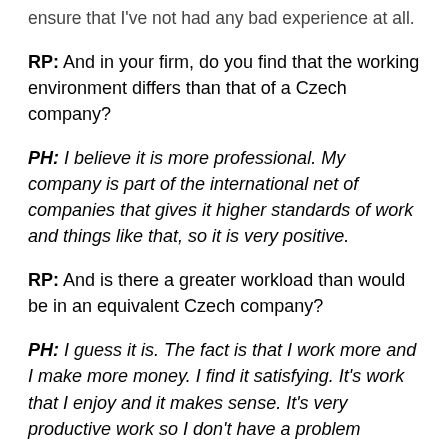ensure that I've not had any bad experience at all.
RP: And in your firm, do you find that the working environment differs than that of a Czech company?
PH: I believe it is more professional. My company is part of the international net of companies that gives it higher standards of work and things like that, so it is very positive.
RP: And is there a greater workload than would be in an equivalent Czech company?
PH: I guess it is. The fact is that I work more and I make more money. I find it satisfying. It's work that I enjoy and it makes sense. It's very productive work so I don't have a problem working more.
RP: Can you tell me what the experience would be if you